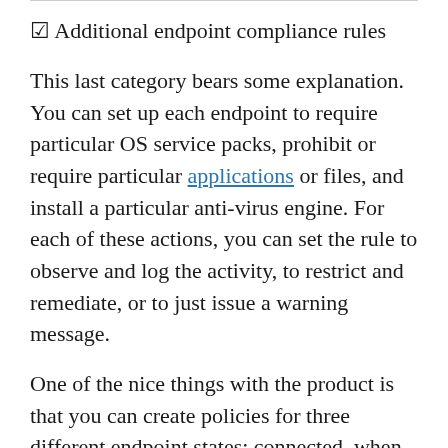☑ Additional endpoint compliance rules
This last category bears some explanation. You can set up each endpoint to require particular OS service packs, prohibit or require particular applications or files, and install a particular anti-virus engine. For each of these actions, you can set the rule to observe and log the activity, to restrict and remediate, or to just issue a warning message.
One of the nice things with the product is that you can create policies for three different endpoint states: connected, when an endpoint is physically present on a local or remote network that can be seen by the management server; disconnected, when it can't; or